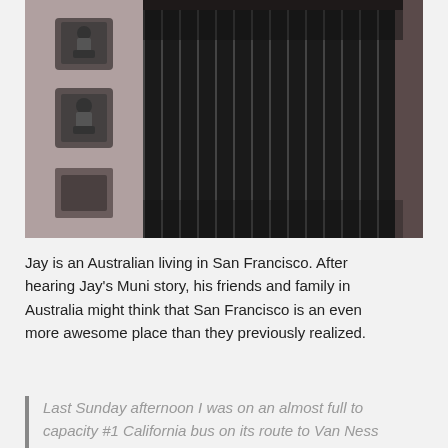[Figure (photo): Close-up photo of black accordion-style bus connector/bellows between two bus cars, with metal wall panels and latching hardware visible on the left side]
Jay is an Australian living in San Francisco. After hearing Jay's Muni story, his friends and family in Australia might think that San Francisco is an even more awesome place than they previously realized.
Last Sunday afternoon I was on an almost full to capacity #1 California bus on its route to Van Ness and beyond. The bus stopped